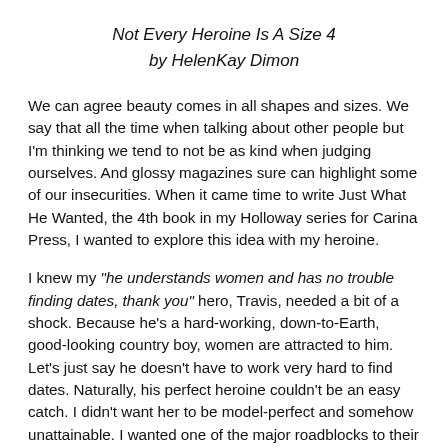Not Every Heroine Is A Size 4
by HelenKay Dimon
We can agree beauty comes in all shapes and sizes. We say that all the time when talking about other people but I'm thinking we tend to not be as kind when judging ourselves. And glossy magazines sure can highlight some of our insecurities. When it came time to write Just What He Wanted, the 4th book in my Holloway series for Carina Press, I wanted to explore this idea with my heroine.
I knew my "he understands women and has no trouble finding dates, thank you" hero, Travis, needed a bit of a shock. Because he's a hard-working, down-to-Earth, good-looking country boy, women are attracted to him. Let's just say he doesn't have to work very hard to find dates. Naturally, his perfect heroine couldn't be an easy catch. I didn't want her to be model-perfect and somehow unattainable. I wanted one of the major roadblocks to their relationship to be what was happening in her head.